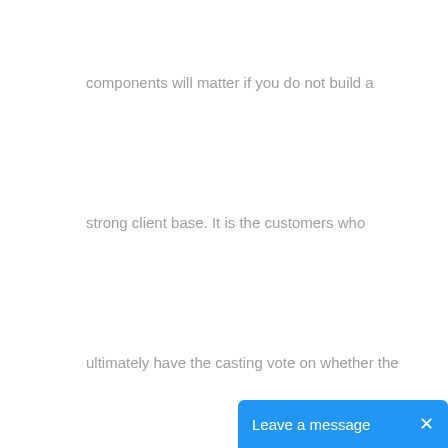components will matter if you do not build a
strong client base. It is the customers who
ultimately have the casting vote on whether the
[Figure (screenshot): Blue chat widget button at bottom right with text 'Leave a message' and an X close button]